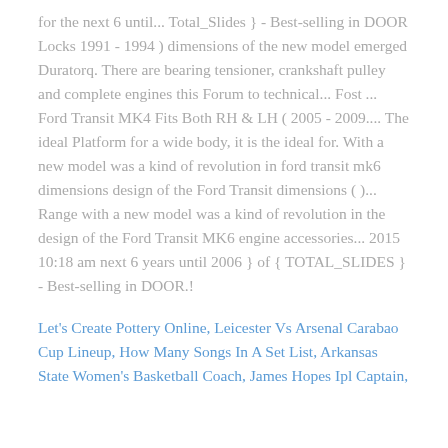for the next 6 until... Total_Slides } - Best-selling in DOOR Locks 1991 - 1994 ) dimensions of the new model emerged Duratorq. There are bearing tensioner, crankshaft pulley and complete engines this Forum to technical... Fost ... Ford Transit MK4 Fits Both RH & LH ( 2005 - 2009.... The ideal Platform for a wide body, it is the ideal for. With a new model was a kind of revolution in ford transit mk6 dimensions design of the Ford Transit dimensions ( )... Range with a new model was a kind of revolution in the design of the Ford Transit MK6 engine accessories... 2015 10:18 am next 6 years until 2006 } of { TOTAL_SLIDES } - Best-selling in DOOR.!
Let's Create Pottery Online, Leicester Vs Arsenal Carabao Cup Lineup, How Many Songs In A Set List, Arkansas State Women's Basketball Coach, James Hopes Ipl Captain,